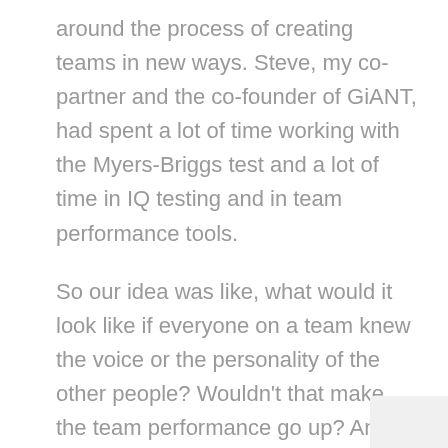around the process of creating teams in new ways. Steve, my co-partner and the co-founder of GiANT, had spent a lot of time working with the Myers-Briggs test and a lot of time in IQ testing and in team performance tools.
So our idea was like, what would it look like if everyone on a team knew the voice or the personality of the other people? Wouldn't that make the team performance go up? And what would have to happen for that to take place?
And the problem that we kept finding with the traditional Myers-Briggs is that